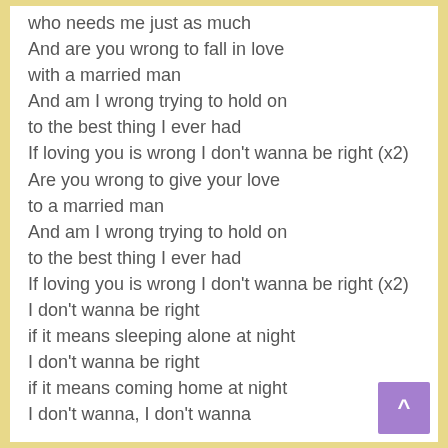who needs me just as much
And are you wrong to fall in love
with a married man
And am I wrong trying to hold on
to the best thing I ever had
If loving you is wrong I don't wanna be right (x2)
Are you wrong to give your love
to a married man
And am I wrong trying to hold on
to the best thing I ever had
If loving you is wrong I don't wanna be right (x2)
I don't wanna be right
if it means sleeping alone at night
I don't wanna be right
if it means coming home at night
I don't wanna, I don't wanna